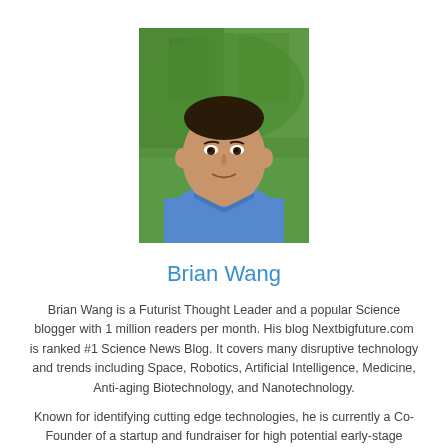[Figure (photo): Headshot photo of Brian Wang, a man in a blue shirt, smiling, with green foliage in the background.]
Brian Wang
Brian Wang is a Futurist Thought Leader and a popular Science blogger with 1 million readers per month. His blog Nextbigfuture.com is ranked #1 Science News Blog. It covers many disruptive technology and trends including Space, Robotics, Artificial Intelligence, Medicine, Anti-aging Biotechnology, and Nanotechnology.
Known for identifying cutting edge technologies, he is currently a Co-Founder of a startup and fundraiser for high potential early-stage companies. He is the Head of Research for Allocations for deep